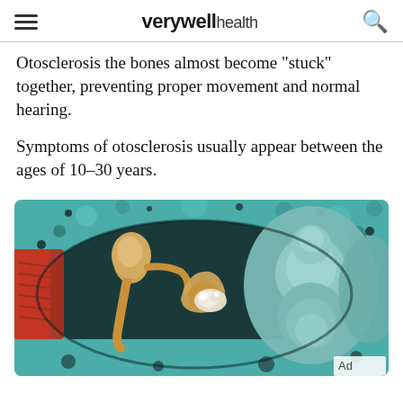verywell health
Otosclerosis the bones almost become "stuck" together, preventing proper movement and normal hearing.
Symptoms of otosclerosis usually appear between the ages of 10-30 years.
[Figure (illustration): Medical illustration of the inner ear anatomy showing ossicles (malleus, incus, stapes) in cross-section with teal/dark background, depicting otosclerosis with bone structures nearly stuck together. A red eardrum region is visible on the left side.]